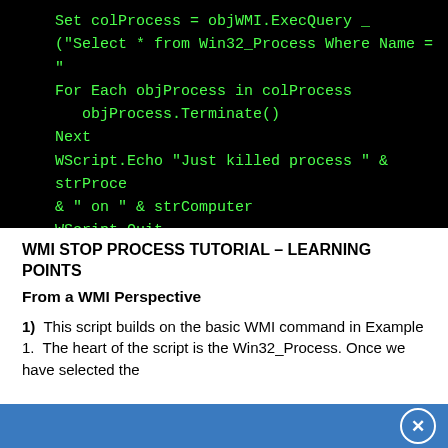[Figure (screenshot): Black background code block showing VBScript WMI kill process code in green monospace font. Lines include: Set colProcess = objWMI.ExecQuery(...), ("Select * from Win32_Process Where Name = "..."), For Each objProcess in colProcess, objProcess.Terminate(), Next, WScript.Echo "Just killed process " & strProcess, & " on " & strComputer, WScript.Quit, ' End of WMI Example of a Kill Process]
WMI STOP PROCESS TUTORIAL – LEARNING POINTS
From a WMI Perspective
1)  This script builds on the basic WMI command in Example 1.  The heart of the script is the Win32_Process. Once we have selected the